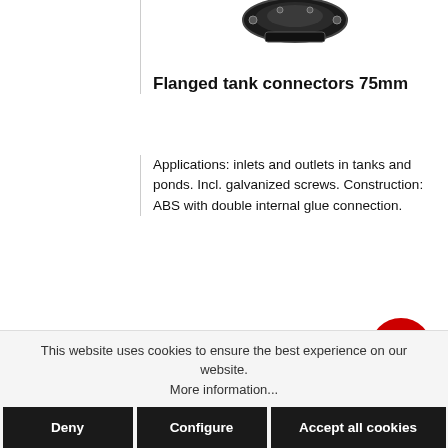[Figure (photo): Partial view of a flanged tank connector product image (black metal part), cropped at top of page]
Flanged tank connectors 75mm
Applications: inlets and outlets in tanks and ponds. Incl. galvanized screws. Construction: ABS with double internal glue connection.
€8.90*  List Price: €11.50*(22.61% saved)
This website uses cookies to ensure the best experience on our website. More information...
Deny  Configure  Accept all cookies